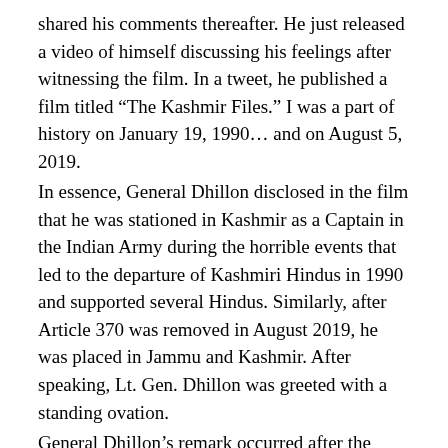shared his comments thereafter. He just released a video of himself discussing his feelings after witnessing the film. In a tweet, he published a film titled “The Kashmir Files.” I was a part of history on January 19, 1990… and on August 5, 2019.
In essence, General Dhillon disclosed in the film that he was stationed in Kashmir as a Captain in the Indian Army during the horrible events that led to the departure of Kashmiri Hindus in 1990 and supported several Hindus. Similarly, after Article 370 was removed in August 2019, he was placed in Jammu and Kashmir. After speaking, Lt. Gen. Dhillon was greeted with a standing ovation.
General Dhillon’s remark occurred after the character represented by Anupam Kher in the film, a Kashmiri Hindu man, wrote over 6,000 letters to the government urging it to abolish Article 370 when the genocide and evacuation of Kashmiri Hindus were taking place in the valley. During the film’s viewing, the touching